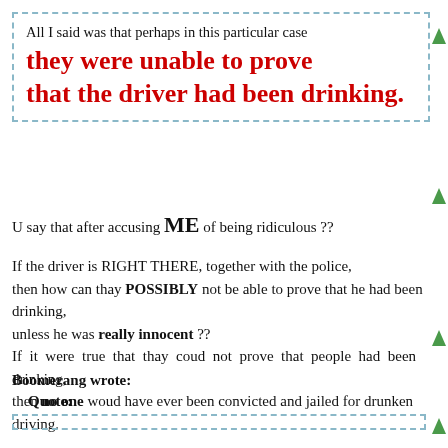All I said was that perhaps in this particular case they were unable to prove that the driver had been drinking.
U say that after accusing ME of being ridiculous ??
If the driver is RIGHT THERE, together with the police, then how can thay POSSIBLY not be able to prove that he had been drinking, unless he was really innocent ?? If it were true that thay coud not prove that people had been drinking, then no one woud have ever been convicted and jailed for drunken driving.
Boomerang wrote:
Quote: